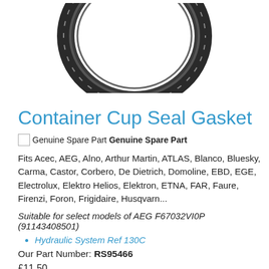[Figure (photo): Photo of a circular rubber container cup seal gasket, dark grey/black ring shape, viewed from above against white background.]
Container Cup Seal Gasket
Genuine Spare Part Genuine Spare Part
Fits Acec, AEG, Alno, Arthur Martin, ATLAS, Blanco, Bluesky, Carma, Castor, Corbero, De Dietrich, Domoline, EBD, EGE, Electrolux, Elektro Helios, Elektron, ETNA, FAR, Faure, Firenzi, Foron, Frigidaire, Husqvarn...
Suitable for select models of AEG F67032VI0P (91143408501)
Hydraulic System Ref 130C
Our Part Number: RS95466
£11.50
Please correct the errors and try again.